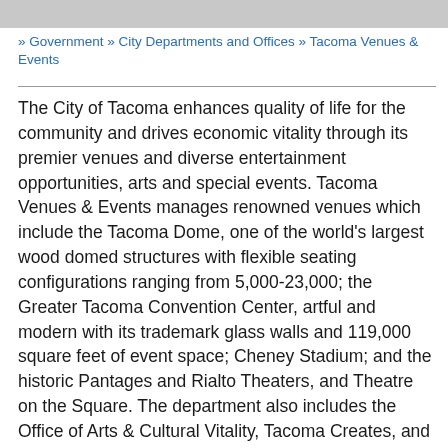» Government » City Departments and Offices » Tacoma Venues & Events
The City of Tacoma enhances quality of life for the community and drives economic vitality through its premier venues and diverse entertainment opportunities, arts and special events. Tacoma Venues & Events manages renowned venues which include the Tacoma Dome, one of the world's largest wood domed structures with flexible seating configurations ranging from 5,000-23,000; the Greater Tacoma Convention Center, artful and modern with its trademark glass walls and 119,000 square feet of event space; Cheney Stadium; and the historic Pantages and Rialto Theaters, and Theatre on the Square. The department also includes the Office of Arts & Cultural Vitality, Tacoma Creates, and Special Events. Collaboration with Travel Tacoma generates events and economic impact for the region.